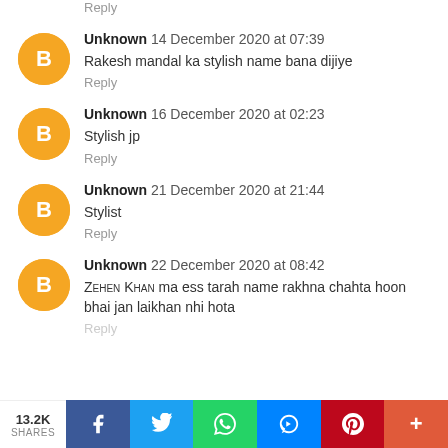Reply
Unknown 14 December 2020 at 07:39 — Rakesh mandal ka stylish name bana dijiye — Reply
Unknown 16 December 2020 at 02:23 — Stylish jp — Reply
Unknown 21 December 2020 at 21:44 — Stylist — Reply
Unknown 22 December 2020 at 08:42 — Zehen Khan ma ess tarah name rakhna chahta hoon bhai jan laikhan nhi hota — Reply
13.2K SHARES | Facebook | Twitter | WhatsApp | Messenger | Pinterest | More